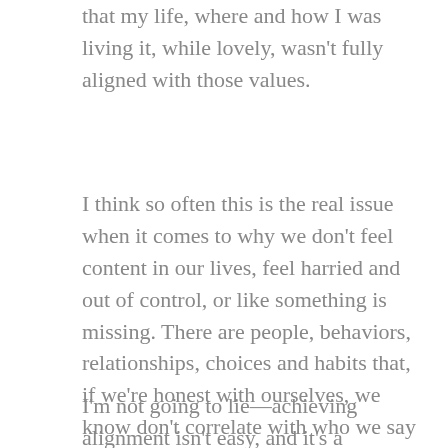that my life, where and how I was living it, while lovely, wasn't fully aligned with those values.
I think so often this is the real issue when it comes to why we don't feel content in our lives, feel harried and out of control, or like something is missing. There are people, behaviors, relationships, choices and habits that, if we're honest with ourselves, we know don't correlate with who we say we are or want to be.
I'm not going to lie—achieving alignment isn't easy, and it's a process. I've been on a